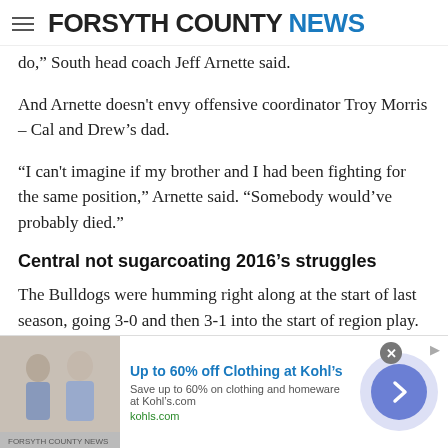FORSYTH COUNTY NEWS
do,” South head coach Jeff Arnette said.
And Arnette doesn’t envy offensive coordinator Troy Morris – Cal and Drew’s dad.
“I can’t imagine if my brother and I had been fighting for the same position,” Arnette said. “Somebody would’ve probably died.”
Central not sugarcoating 2016’s struggles
The Bulldogs were humming right along at the start of last season, going 3-0 and then 3-1 into the start of region play.
[Figure (other): Advertisement banner for Kohl’s: Up to 60% off Clothing at Kohl’s. Save up to 60% on clothing and homeware at Kohls.com. kohls.com]